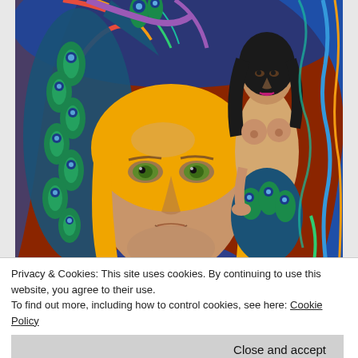[Figure (illustration): Colorful figurative painting featuring a close-up of a face with yellow/golden hair and green eyes in the foreground, surrounded by peacock feather patterns in blue and green. In the background, a dark-haired nude figure stands against swirling blue and red abstract patterns.]
Privacy & Cookies: This site uses cookies. By continuing to use this website, you agree to their use.
To find out more, including how to control cookies, see here: Cookie Policy
Close and accept
art for bone cave ballet, collaged